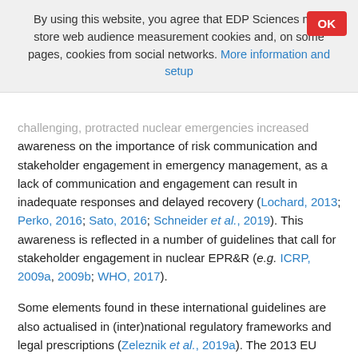By using this website, you agree that EDP Sciences may store web audience measurement cookies and, on some pages, cookies from social networks. More information and setup
challenging, protracted nuclear emergencies increased awareness on the importance of risk communication and stakeholder engagement in emergency management, as a lack of communication and engagement can result in inadequate responses and delayed recovery (Lochard, 2013; Perko, 2016; Sato, 2016; Schneider et al., 2019). This awareness is reflected in a number of guidelines that call for stakeholder engagement in nuclear EPR&R (e.g. ICRP, 2009a, 2009b; WHO, 2017).
Some elements found in these international guidelines are also actualised in (inter)national regulatory frameworks and legal prescriptions (Zeleznik et al., 2019a). The 2013 EU Basic Safety Standards directive for example requires consultation with stakeholders and their involvement in decision-making in